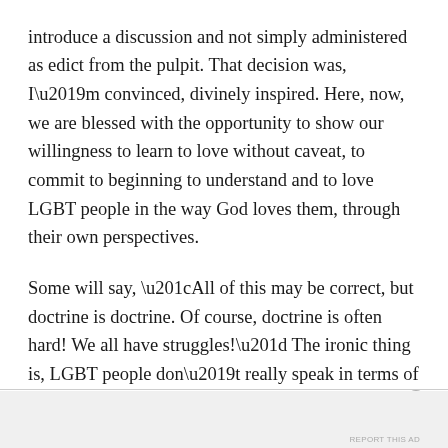introduce a discussion and not simply administered as edict from the pulpit. That decision was, I'm convinced, divinely inspired. Here, now, we are blessed with the opportunity to show our willingness to learn to love without caveat, to commit to beginning to understand and to love LGBT people in the way God loves them, through their own perspectives.
Some will say, “All of this may be correct, but doctrine is doctrine. Of course, doctrine is often hard! We all have struggles!” The ironic thing is, LGBT people don’t really speak in terms of struggling with doctrine per se,
Advertisements